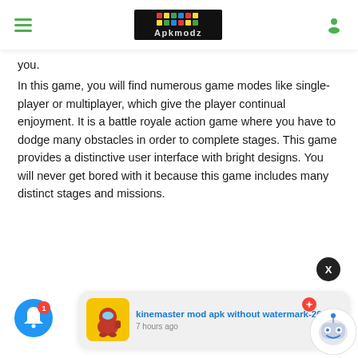Apkmodz navigation header with hamburger menu, logo, and user icon
you.
In this game, you will find numerous game modes like single-player or multiplayer, which give the player continual enjoyment. It is a battle royale action game where you have to dodge many obstacles in order to complete stages. This game provides a distinctive user interface with bright designs. You will never get bored with it because this game includes many distinct stages and missions.
[Figure (screenshot): Notification bell button (blue circle) with red badge showing count 1]
[Figure (screenshot): Close X button (black circle)]
[Figure (screenshot): Notification card with Among Us thumbnail, title 'kinemaster mod apk without watermark-2022', time '7 hours ago', and chat robot icon overlay]